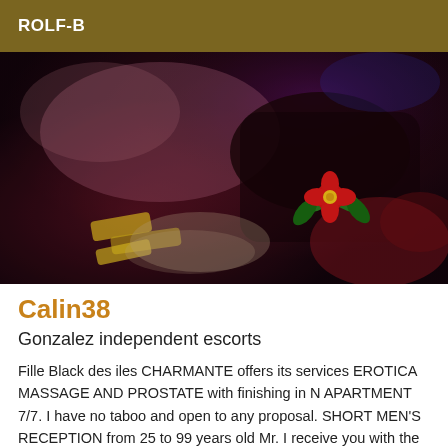ROLF-B
[Figure (photo): A person lying on a bed in a dimly lit room with pink/red ambient lighting, wearing dark clothing, with decorative flower emoji overlay and yellow text emoji overlay on the image.]
Calin38
Gonzalez independent escorts
Fille Black des iles CHARMANTE offers its services EROTICA MASSAGE AND PROSTATE with finishing in N APARTMENT 7/7. I have no taboo and open to any proposal. SHORT MEN'S RECEPTION from 25 to 99 years old Mr. I receive you with the mm outfit BECAUSE